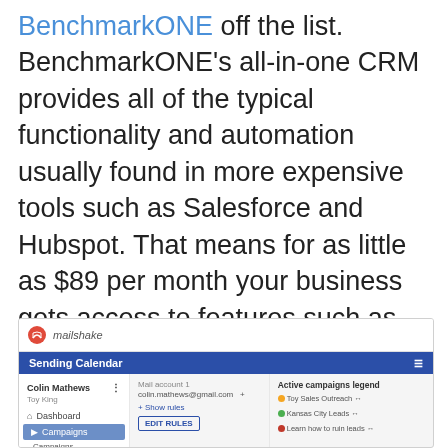BenchmarkONE off the list. BenchmarkONE's all-in-one CRM provides all of the typical functionality and automation usually found in more expensive tools such as Salesforce and Hubspot. That means for as little as $89 per month your business gets access to features such as contact management, email marketing, advanced segmentation and tagging, customer behavior tracking on your website and more.
[Figure (screenshot): Screenshot of Mailshake app interface showing the Sending Calendar with a sidebar containing Dashboard, Campaigns, Lead Catcher menu items and a Colin Mathews user account. The main content area shows mail account settings with Active campaigns legend showing Toy Sales Outreach, Kansas City Leads, and Learn how to ruin leads.]